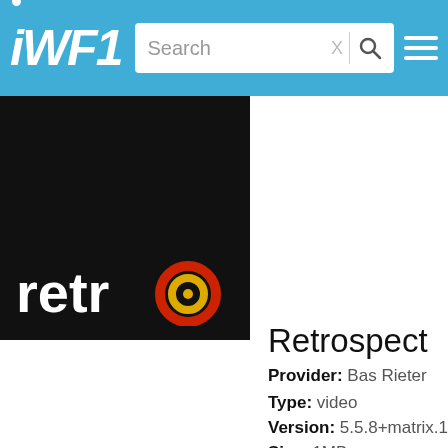IWF1
[Figure (logo): Retro app logo: black background with white 'retro' text and a concentric circle icon (red outer, yellow inner ring) replacing the letter 'o']
Retrospect
Provider: Bas Rieter
Type: video
Version: 5.5.8+matrix.1
Size: 1MB
Views: 827